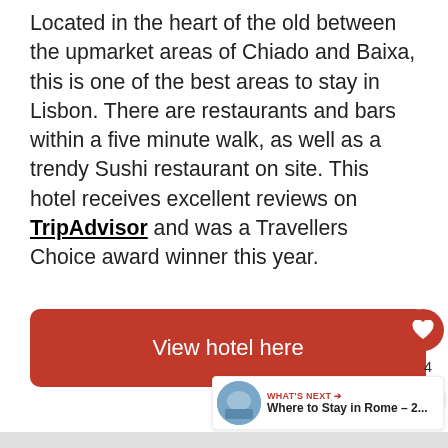Located in the heart of the old between the upmarket areas of Chiado and Baixa, this is one of the best areas to stay in Lisbon. There are restaurants and bars within a five minute walk, as well as a trendy Sushi restaurant on site. This hotel receives excellent reviews on TripAdvisor and was a Travellers Choice award winner this year.
View hotel here